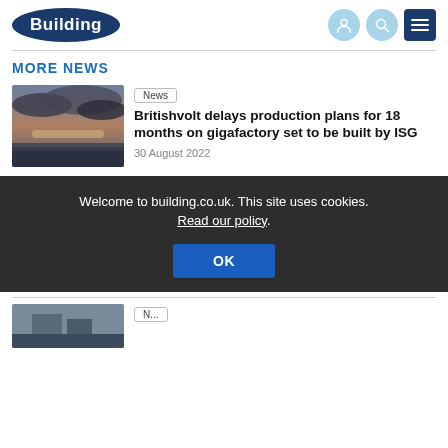Building
MORE NEWS
[Figure (photo): Aerial landscape photo with dramatic cloudy sky over coastal or moorland scene]
News
Britishvolt delays production plans for 18 months on gigafactory set to be built by ISG
30 August 2022
Welcome to building.co.uk. This site uses cookies. Read our policy.
[Figure (photo): Aerial photo of a town or industrial site]